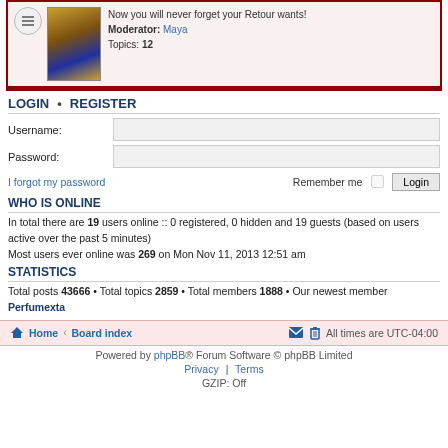Now you will never forget your Retour wants! Moderator: Maya Topics: 12
LOGIN • REGISTER
Username:
Password:
I forgot my password Remember me [checkbox] Login
WHO IS ONLINE
In total there are 19 users online :: 0 registered, 0 hidden and 19 guests (based on users active over the past 5 minutes)
Most users ever online was 269 on Mon Nov 11, 2013 12:51 am
STATISTICS
Total posts 43666 • Total topics 2859 • Total members 1888 • Our newest member Perfumexta
Home · Board index | All times are UTC-04:00
Powered by phpBB® Forum Software © phpBB Limited
Privacy | Terms
GZIP: Off